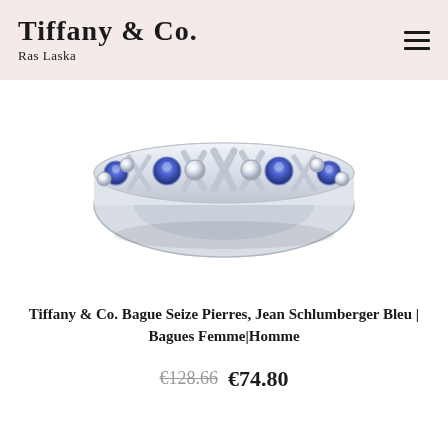Tiffany & Co. | Ras Laska
[Figure (photo): A Tiffany & Co. Seize Pierres ring by Jean Schlumberger featuring alternating blue sapphire and diamond stones set in silver/white gold with X-shaped dividers, photographed on a white background.]
Tiffany & Co. Bague Seize Pierres, Jean Schlumberger Bleu | Bagues Femme|Homme
€128.66  €74.80